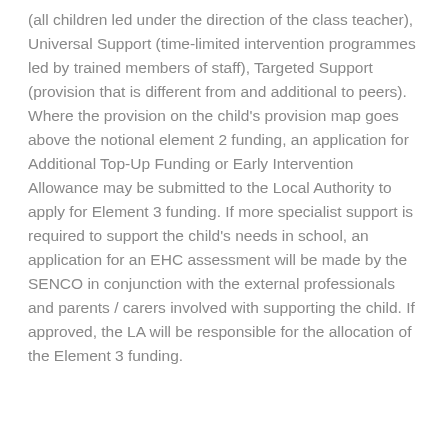(all children led under the direction of the class teacher), Universal Support (time-limited intervention programmes led by trained members of staff), Targeted Support (provision that is different from and additional to peers). Where the provision on the child's provision map goes above the notional element 2 funding, an application for Additional Top-Up Funding or Early Intervention Allowance may be submitted to the Local Authority to apply for Element 3 funding. If more specialist support is required to support the child's needs in school, an application for an EHC assessment will be made by the SENCO in conjunction with the external professionals and parents / carers involved with supporting the child. If approved, the LA will be responsible for the allocation of the Element 3 funding.